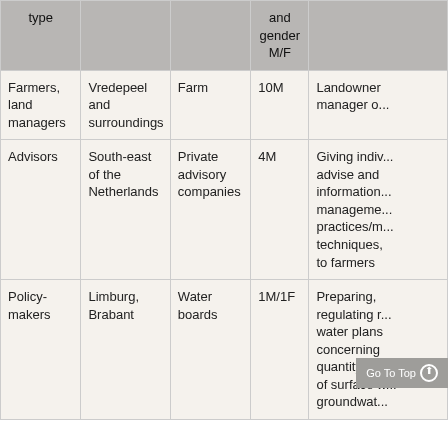| type |  |  | and gender M/F |  |
| --- | --- | --- | --- | --- |
| Farmers, land managers | Vredepeel and surroundings | Farm | 10M | Landowner manager o... |
| Advisors | South-east of the Netherlands | Private advisory companies | 4M | Giving indiv... advise and information management practices/m techniques, to farmers |
| Policy-makers | Limburg, Brabant | Water boards | 1M/1F | Preparing, regulating r... water plans concerning quantity an... of surface w... groundwat... |